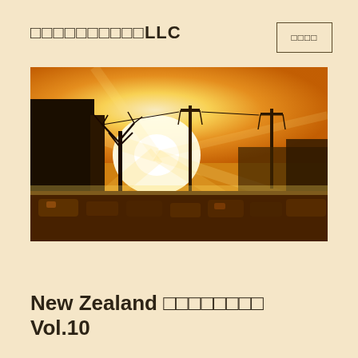□□□□□□□□□□LLC　　　　　　　　□□□□
[Figure (photo): Sunset photo of a street scene with cars, power poles, a bare tree, and a large building silhouette on the left, with bright golden sunlight and lens flares.]
New Zealand □□□□□□□□ Vol.10